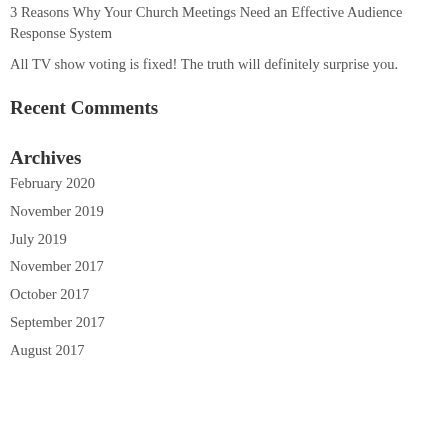3 Reasons Why Your Church Meetings Need an Effective Audience Response System
All TV show voting is fixed! The truth will definitely surprise you.
Recent Comments
Archives
February 2020
November 2019
July 2019
November 2017
October 2017
September 2017
August 2017